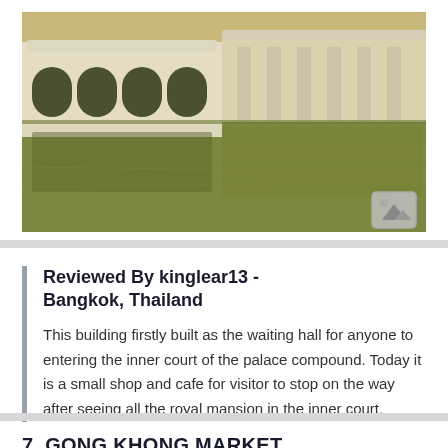[Figure (photo): A white ornate building with arched windows partially submerged in or adjacent to a body of water, with its reflection visible in the greenish water. A gallery/photo icon overlay appears in the bottom-right corner.]
Reviewed By kinglear13 - Bangkok, Thailand
This building firstly built as the waiting hall for anyone to entering the inner court of the palace compound. Today it is a small shop and cafe for visitor to stop on the way after seeing all the royal mansion in the inner court.
7. GONG KHONG MARKET